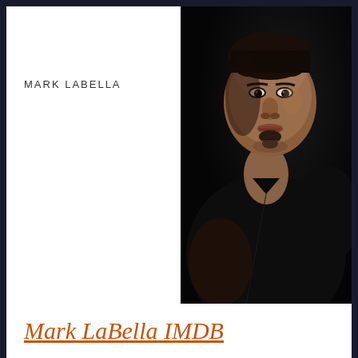MARK LABELLA
[Figure (photo): Headshot photo of Mark LaBella, a man wearing a black shirt against a dark background, looking directly at camera with a serious expression.]
Mark LaBella IMDB